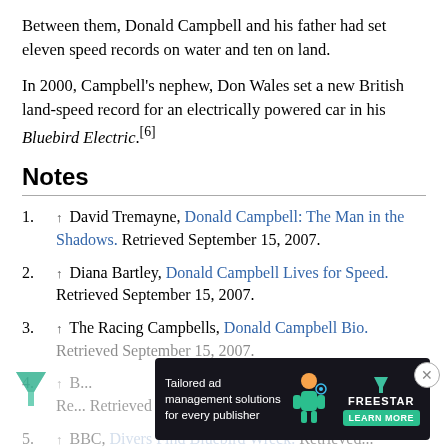Between them, Donald Campbell and his father had set eleven speed records on water and ten on land.
In 2000, Campbell's nephew, Don Wales set a new British land-speed record for an electrically powered car in his Bluebird Electric.[6]
Notes
1. ↑ David Tremayne, Donald Campbell: The Man in the Shadows. Retrieved September 15, 2007.
2. ↑ Diana Bartley, Donald Campbell Lives for Speed. Retrieved September 15, 2007.
3. ↑ The Racing Campbells, Donald Campbell Bio. Retrieved September 15, 2007.
4. ↑ B... Retrieved September 15, 2007.
5. ↑ BBC, Divers Find Bluebird Wreck. Retrieved...
[Figure (infographic): Advertisement banner for Freestar: 'Tailored ad management solutions for every publisher' with a Learn More button and decorative graphic of a person with digital elements.]